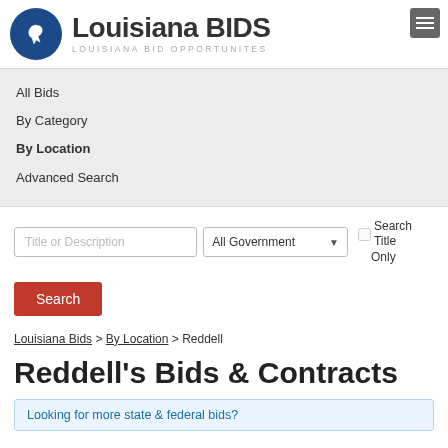[Figure (logo): Louisiana BIDS logo with blue circle containing Louisiana state outline icon and bold text 'Louisiana BIDS' with subtitle 'LOUISIANA BID OPPORTUNITES']
All Bids
By Category
By Location
Advanced Search
Title or Description | All Government ▾ | ☐ Search Title Only
Search
Louisiana Bids > By Location > Reddell
Reddell's Bids & Contracts
Looking for more state & federal bids?